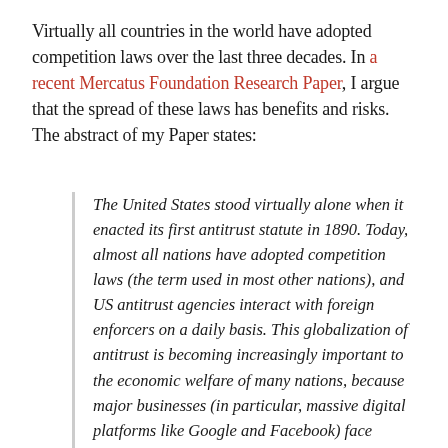Virtually all countries in the world have adopted competition laws over the last three decades. In a recent Mercatus Foundation Research Paper, I argue that the spread of these laws has benefits and risks. The abstract of my Paper states:
The United States stood virtually alone when it enacted its first antitrust statute in 1890. Today, almost all nations have adopted competition laws (the term used in most other nations), and US antitrust agencies interact with foreign enforcers on a daily basis. This globalization of antitrust is becoming increasingly important to the economic welfare of many nations, because major businesses (in particular, massive digital platforms like Google and Facebook) face growing antitrust scrutiny by multiple enforcement regimes worldwide. As such, the United States should take the lead in encouraging adoption of antitrust policies, here and abroad, that are conducive to economic growth and innovation. Antitrust policies centered on promoting consumer welfare would be best